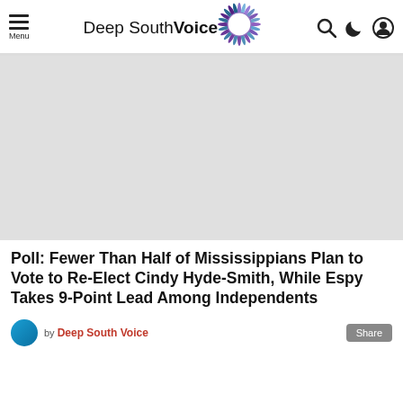Menu — Deep South Voice
[Figure (illustration): Deep South Voice logo with stylized sun/feather burst graphic in purple and blue surrounding a circle, next to the text 'Deep South Voice' in mixed weight sans-serif]
[Figure (photo): Large light gray advertisement or image placeholder rectangle]
Poll: Fewer Than Half of Mississippians Plan to Vote to Re-Elect Cindy Hyde-Smith, While Espy Takes 9-Point Lead Among Independents
by Deep South Voice